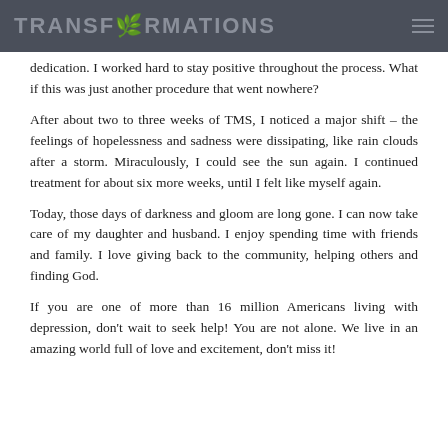TRANSFORMATIONS
dedication. I worked hard to stay positive throughout the process. What if this was just another procedure that went nowhere?
After about two to three weeks of TMS, I noticed a major shift – the feelings of hopelessness and sadness were dissipating, like rain clouds after a storm. Miraculously, I could see the sun again. I continued treatment for about six more weeks, until I felt like myself again.
Today, those days of darkness and gloom are long gone. I can now take care of my daughter and husband. I enjoy spending time with friends and family. I love giving back to the community, helping others and finding God.
If you are one of more than 16 million Americans living with depression, don't wait to seek help! You are not alone. We live in an amazing world full of love and excitement, don't miss it!